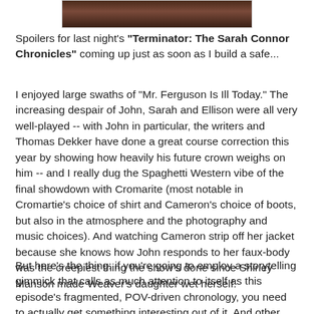[Figure (photo): Partial photograph visible at top of page, cropped dark image]
Spoilers for last night's "Terminator: The Sarah Connor Chronicles" coming up just as soon as I build a safe...
I enjoyed large swaths of "Mr. Ferguson Is Ill Today." The increasing despair of John, Sarah and Ellison were all very well-played -- with John in particular, the writers and Thomas Dekker have done a great course correction this year by showing how heavily his future crown weighs on him -- and I really dug the Spaghetti Western vibe of the final showdown with Cromarite (most notable in Cromartie's choice of shirt and Cameron's choice of boots, but also in the atmosphere and the photography and music choices). And watching Cameron strip off her jacket because she knows how John responds to her faux-body was the creepiest thing the show's done since Shirley Manson made Weaver's daughter wet herself.
But here's the thing: if you're going to employ a storytelling gimmick that calls as much attention to itself as this episode's fragmented, POV-driven chronology, you need to actually get something interesting out of it. And other than